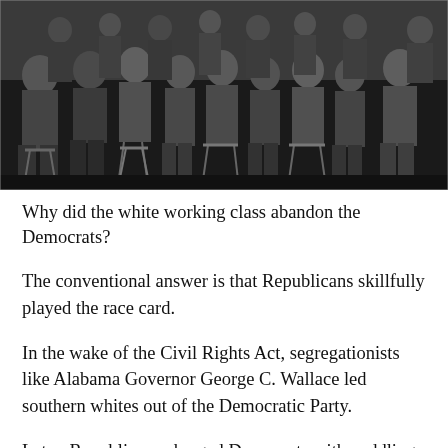[Figure (photo): Black and white historical photograph of a large group of white working class men, many seated on stools or benches, some wearing aprons, posing together in what appears to be an early 20th century group portrait.]
Why did the white working class abandon the Democrats?
The conventional answer is that Republicans skillfully played the race card.
In the wake of the Civil Rights Act, segregationists like Alabama Governor George C. Wallace led southern whites out of the Democratic Party.
Later, Republicans charged Democrats with coddling black